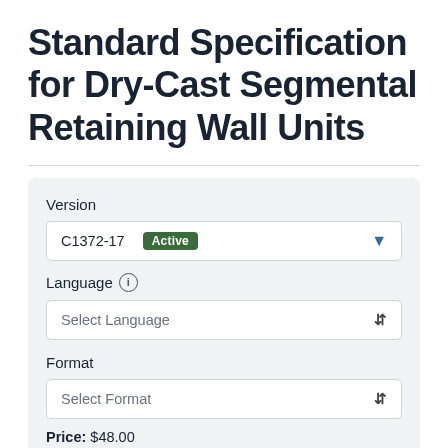Standard Specification for Dry-Cast Segmental Retaining Wall Units
Version
C1372-17  Active
Language
Select Language
Format
Select Format
Price: $48.00